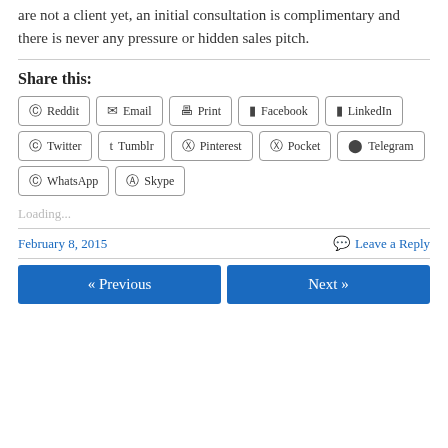are not a client yet, an initial consultation is complimentary and there is never any pressure or hidden sales pitch.
Share this:
Reddit · Email · Print · Facebook · LinkedIn · Twitter · Tumblr · Pinterest · Pocket · Telegram · WhatsApp · Skype
Loading...
February 8, 2015
Leave a Reply
« Previous
Next »